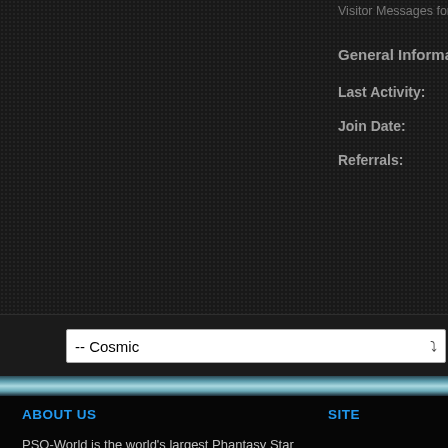Visitor Messages for GHN
General Information
Last Activity:
Join Date:
Referrals:
-- Cosmic
ABOUT US
PSO-World is the world's largest Phantasy Star community website offering discussion forums, guides, and news for online Phantasy Star games.
SITE
News
Forums
Gallery
[Figure (logo): PSO-World logo with blue orb in the O, white text reading PSO-World, subtitle The World's Largest Phantasy Star Community]